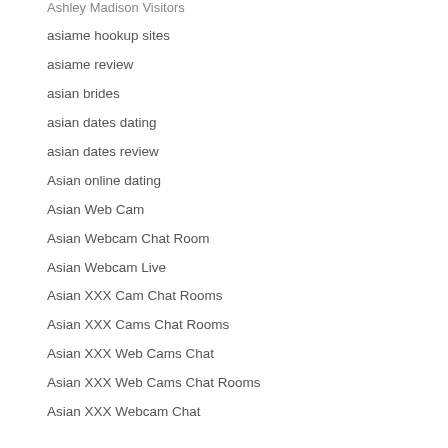Ashley Madison Visitors
asiame hookup sites
asiame review
asian brides
asian dates dating
asian dates review
Asian online dating
Asian Web Cam
Asian Webcam Chat Room
Asian Webcam Live
Asian XXX Cam Chat Rooms
Asian XXX Cams Chat Rooms
Asian XXX Web Cams Chat
Asian XXX Web Cams Chat Rooms
Asian XXX Webcam Chat